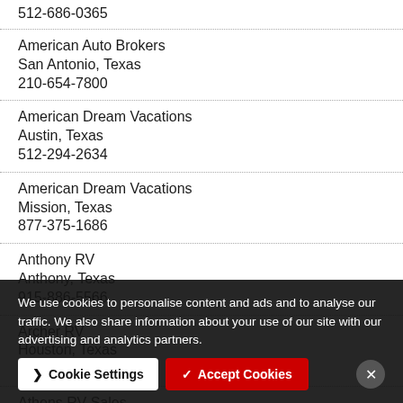512-686-0365
American Auto Brokers
San Antonio, Texas
210-654-7800
American Dream Vacations
Austin, Texas
512-294-2634
American Dream Vacations
Mission, Texas
877-375-1686
Anthony RV
Anthony, Texas
915-886-5566
Archer RV
Houston, Texas
713-635-4703
Athens RV Sales
Athens, Texas
903-855-3494
We use cookies to personalise content and ads and to analyse our traffic. We also share information about your use of our site with our advertising and analytics partners.
Cookie Settings | Accept Cookies